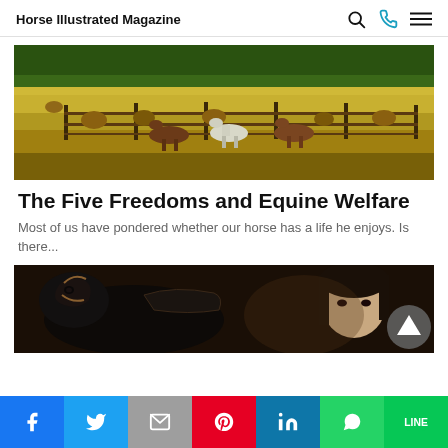Horse Illustrated Magazine
[Figure (photo): Horses grazing in a fenced pasture with hay bales and green rolling fields in the background]
The Five Freedoms and Equine Welfare
Most of us have pondered whether our horse has a life he enjoys. Is there...
[Figure (photo): Close-up of a dark horse with bridle next to a young Asian woman in equestrian setting]
Social share bar: Facebook, Twitter, Email, Pinterest, LinkedIn, WhatsApp, LINE